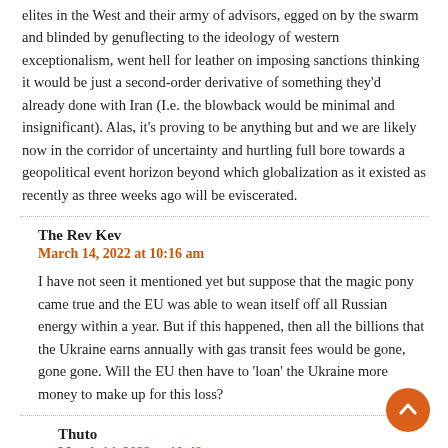elites in the West and their army of advisors, egged on by the swarm and blinded by genuflecting to the ideology of western exceptionalism, went hell for leather on imposing sanctions thinking it would be just a second-order derivative of something they'd already done with Iran (I.e. the blowback would be minimal and insignificant). Alas, it's proving to be anything but and we are likely now in the corridor of uncertainty and hurtling full bore towards a geopolitical event horizon beyond which globalization as it existed as recently as three weeks ago will be eviscerated.
The Rev Kev
March 14, 2022 at 10:16 am
I have not seen it mentioned yet but suppose that the magic pony came true and the EU was able to wean itself off all Russian energy within a year. But if this happened, then all the billions that the Ukraine earns annually with gas transit fees would be gone, gone gone. Will the EU then have to 'loan' the Ukraine more money to make up for this loss?
Thuto
March 14, 2022 at 10:48 am